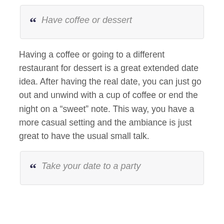Have coffee or dessert
Having a coffee or going to a different restaurant for dessert is a great extended date idea. After having the real date, you can just go out and unwind with a cup of coffee or end the night on a “sweet” note. This way, you have a more casual setting and the ambiance is just great to have the usual small talk.
Take your date to a party